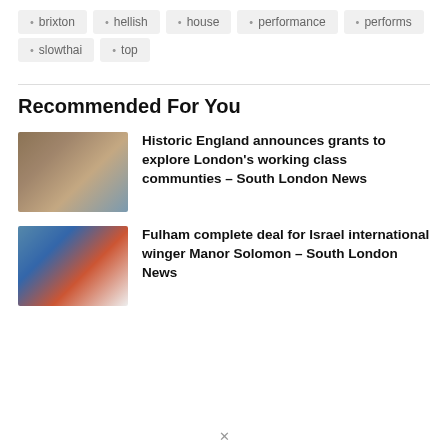brixton
hellish
house
performance
performs
slowthai
top
Recommended For You
Historic England announces grants to explore London's working class communties – South London News
Fulham complete deal for Israel international winger Manor Solomon – South London News